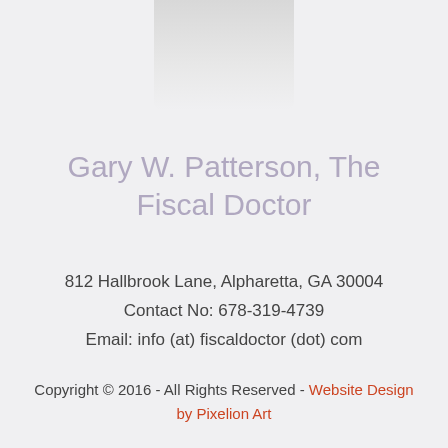[Figure (photo): Partially visible photo of a person at the top center of the page, fading into the light gray background]
Gary W. Patterson, The Fiscal Doctor
812 Hallbrook Lane, Alpharetta, GA 30004
Contact No: 678-319-4739
Email: info (at) fiscaldoctor (dot) com
Copyright © 2016 - All Rights Reserved - Website Design by Pixelion Art